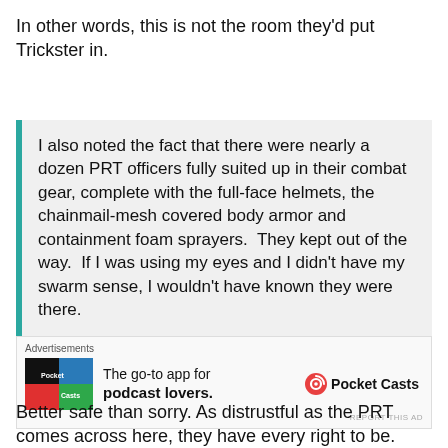In other words, this is not the room they'd put Trickster in.
I also noted the fact that there were nearly a dozen PRT officers fully suited up in their combat gear, complete with the full-face helmets, the chainmail-mesh covered body armor and containment foam sprayers.  They kept out of the way.  If I was using my eyes and I didn't have my swarm sense, I wouldn't have known they were there.
[Figure (infographic): Pocket Casts advertisement: app icon on left, text 'The go-to app for podcast lovers.' with Pocket Casts logo and name on right.]
Better safe than sorry. As distrustful as the PRT comes across here, they have every right to be.